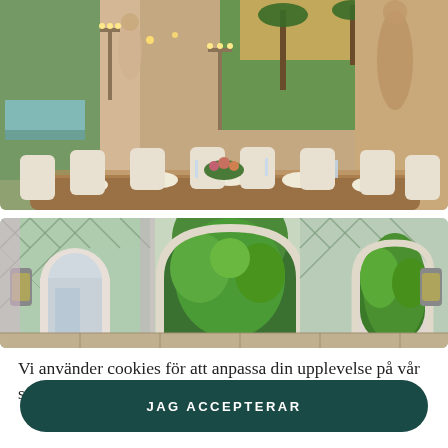[Figure (photo): Elegant dining room with long wooden table set with white plates and candelabras, ornate stone walls with classical statues, large windows overlooking a lush green garden with a pool]
[Figure (photo): Interior hallway/conservatory with green diamond-pattern tiled walls, arched doorways, hanging lanterns, and view into a lush green garden]
Vi använder cookies för att anpassa din upplevelse på vår sajt. Läs mer om hur vi använder cookies här
JAG ACCEPTERAR